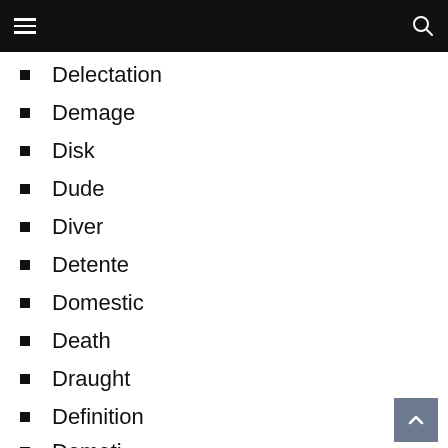Delectation
Demage
Disk
Dude
Diver
Detente
Domestic
Death
Draught
Definition
Demoti…